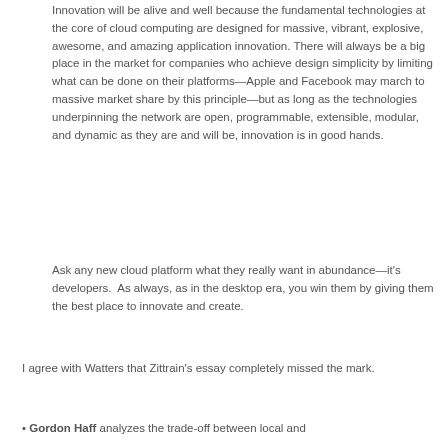Innovation will be alive and well because the fundamental technologies at the core of cloud computing are designed for massive, vibrant, explosive, awesome, and amazing application innovation. There will always be a big place in the market for companies who achieve design simplicity by limiting what can be done on their platforms—Apple and Facebook may march to massive market share by this principle—but as long as the technologies underpinning the network are open, programmable, extensible, modular, and dynamic as they are and will be, innovation is in good hands.
Ask any new cloud platform what they really want in abundance—it's developers.  As always, as in the desktop era, you win them by giving them the best place to innovate and create.
I agree with Watters that Zittrain's essay completely missed the mark.
Gordon Haff analyzes the trade-off between local and